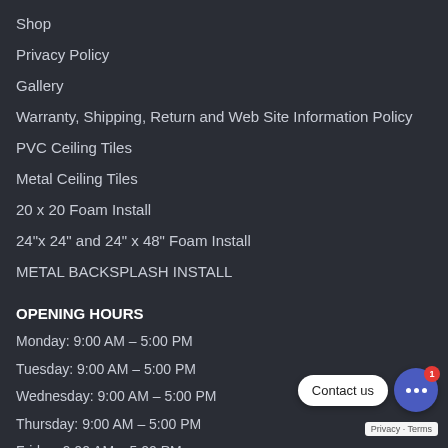Shop
Privacy Policy
Gallery
Warranty, Shipping, Return and Web Site Information Policy
PVC Ceiling Tiles
Metal Ceiling Tiles
20 x 20 Foam Install
24"x 24" and 24" x 48" Foam Install
METAL BACKSPLASH INSTALL
OPENING HOURS
Monday: 9:00 AM – 5:00 PM
Tuesday: 9:00 AM – 5:00 PM
Wednesday: 9:00 AM – 5:00 PM
Thursday: 9:00 AM – 5:00 PM
Friday: 9:00 AM – 5:00 PM